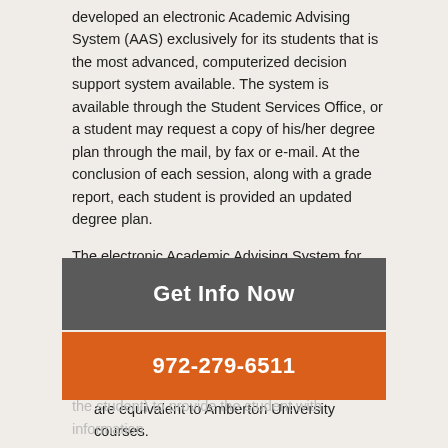developed an electronic Academic Advising System (AAS) exclusively for its students that is the most advanced, computerized decision support system available. The system is available through the Student Services Office, or a student may request a copy of his/her degree plan through the mail, by fax or e-mail. At the conclusion of each session, along with a grade report, each student is provided an updated degree plan.
The electronic Academic Advising System for Amberton University is comprised of the following three basic systems:
1  An electronic Transfer of Credit Report (TCR) that reports all courses accepted in transfer from other institutions and how those courses are equivalent to Amberton University courses.
2  An Electronic Transcript (ET) that reports all courses completed at Amberton University, total credits awarded,
Get Info Now
972-279-6511
the student) to provide the student with information